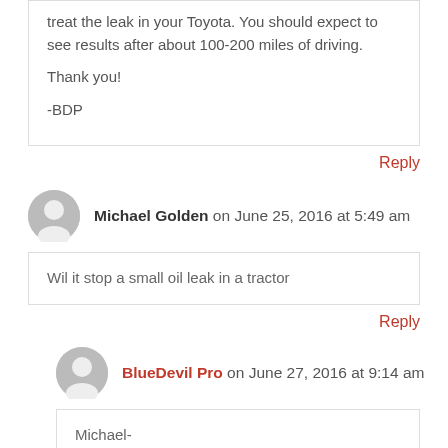treat the leak in your Toyota. You should expect to see results after about 100-200 miles of driving.

Thank you!

-BDP
Reply
Michael Golden on June 25, 2016 at 5:49 am
Wil it stop a small oil leak in a tractor
Reply
BlueDevil Pro on June 27, 2016 at 9:14 am
Michael-

Yes, the BlueDevil Oil Stop Leak is compatible in